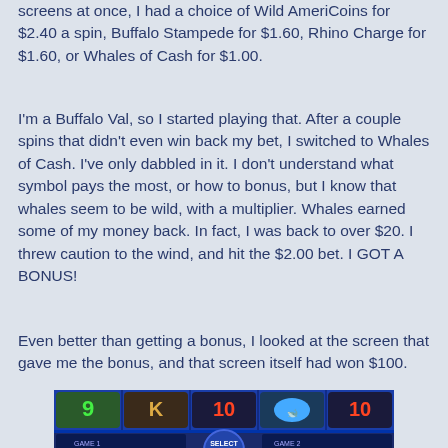screens at once, I had a choice of Wild AmeriCoins for $2.40 a spin, Buffalo Stampede for $1.60, Rhino Charge for $1.60, or Whales of Cash for $1.00.
I'm a Buffalo Val, so I started playing that. After a couple spins that didn't even win back my bet, I switched to Whales of Cash. I've only dabbled in it. I don't understand what symbol pays the most, or how to bonus, but I know that whales seem to be wild, with a multiplier. Whales earned some of my money back. In fact, I was back to over $20. I threw caution to the wind, and hit the $2.00 bet. I GOT A BONUS!
Even better than getting a bonus, I looked at the screen that gave me the bonus, and that screen itself had won $100.
[Figure (screenshot): Screenshot of a Whales of Cash slot machine game showing multiple reels with symbols including numbers 9, 10, K, J, A and other slot symbols on a blue background. A 'Select Games' button is visible in the center.]